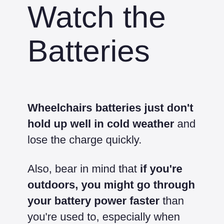Watch the Batteries
Wheelchairs batteries just don't hold up well in cold weather and lose the charge quickly.
Also, bear in mind that if you're outdoors, you might go through your battery power faster than you're used to, especially when moving over snow that forces your wheels to work harder.